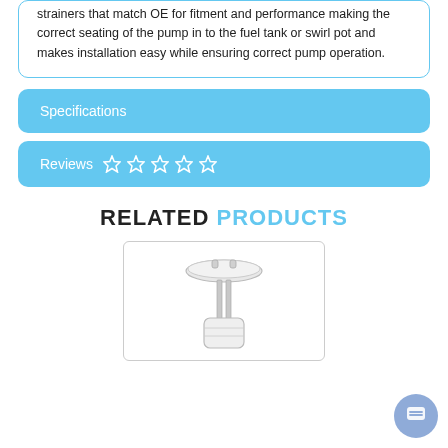strainers that match OE for fitment and performance making the correct seating of the pump in to the fuel tank or swirl pot and makes installation easy while ensuring correct pump operation.
Specifications
Reviews ☆ ☆ ☆ ☆ ☆
RELATED PRODUCTS
[Figure (photo): A fuel pump module assembly shown in white/silver, with a cylindrical body and connectors at the top.]